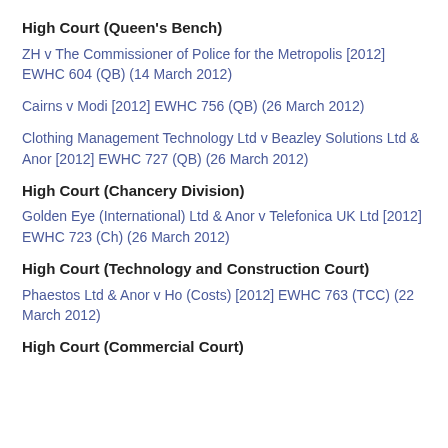High Court (Queen's Bench)
ZH v The Commissioner of Police for the Metropolis [2012] EWHC 604 (QB) (14 March 2012)
Cairns v Modi [2012] EWHC 756 (QB) (26 March 2012)
Clothing Management Technology Ltd v Beazley Solutions Ltd & Anor [2012] EWHC 727 (QB) (26 March 2012)
High Court (Chancery Division)
Golden Eye (International) Ltd & Anor v Telefonica UK Ltd [2012] EWHC 723 (Ch) (26 March 2012)
High Court (Technology and Construction Court)
Phaestos Ltd & Anor v Ho (Costs) [2012] EWHC 763 (TCC) (22 March 2012)
High Court (Commercial Court)